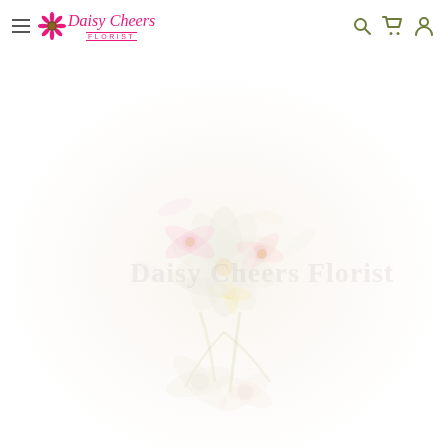Daisy Cheers Florist — navigation header with logo, hamburger menu, search, cart, and account icons
[Figure (photo): Faded/washed-out product photo of a floral arrangement — a mixed bouquet with white, pink, and yellow flowers, very low opacity against white background, with faint overlay text 'Daisy Cheers Florist']